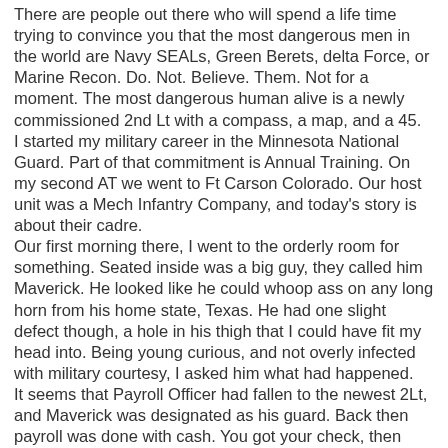There are people out there who will spend a life time trying to convince you that the most dangerous men in the world are Navy SEALs, Green Berets, delta Force, or Marine Recon. Do. Not. Believe. Them. Not for a moment. The most dangerous human alive is a newly commissioned 2nd Lt with a compass, a map, and a 45.
I started my military career in the Minnesota National Guard. Part of that commitment is Annual Training. On my second AT we went to Ft Carson Colorado. Our host unit was a Mech Infantry Company, and today's story is about their cadre.
Our first morning there, I went to the orderly room for something. Seated inside was a big guy, they called him Maverick. He looked like he could whoop ass on any long horn from his home state, Texas. He had one slight defect though, a hole in his thigh that I could have fit my head into. Being young curious, and not overly infected with military courtesy, I asked him what had happened.
It seems that Payroll Officer had fallen to the newest 2Lt, and Maverick was designated as his guard. Back then payroll was done with cash. You got your check, then reported to the Pay officer and he would cash it for you instead of having to